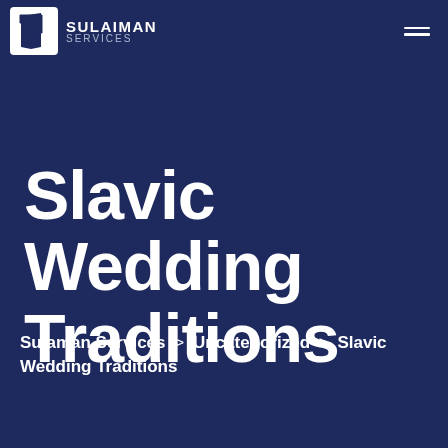SULAIMAN SERVICES
Slavic Wedding Traditions
Sulaman Services > Uncategorized > Slavic Wedding Traditions